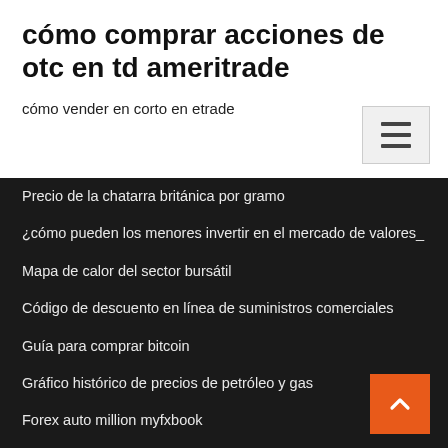cómo comprar acciones de otc en td ameritrade
cómo vender en corto en etrade
Precio de la chatarra británica por gramo
¿cómo pueden los menores invertir en el mercado de valores_
Mapa de calor del sector bursátil
Código de descuento en línea de suministros comerciales
Guía para comprar bitcoin
Gráfico histórico de precios de petróleo y gas
Forex auto million myfxbook
Inversión de gráfico en vivo de usd chf